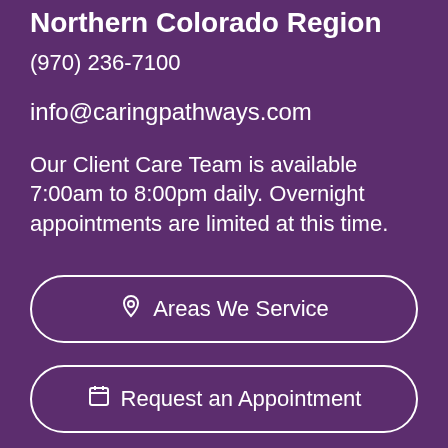Northern Colorado Region
(970) 236-7100
info@caringpathways.com
Our Client Care Team is available 7:00am to 8:00pm daily. Overnight appointments are limited at this time.
📍 Areas We Service
🗓 Request an Appointment